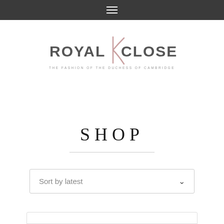Navigation menu
[Figure (logo): Royal K Closet logo — 'ROYAL CLOSET' in grey capitals with a stylized pink/rose K letterform in the center, subtitle 'THE FASHION OF THE DUCHESS OF CAMBRIDGE' in spaced capitals below]
SHOP
Sort by latest